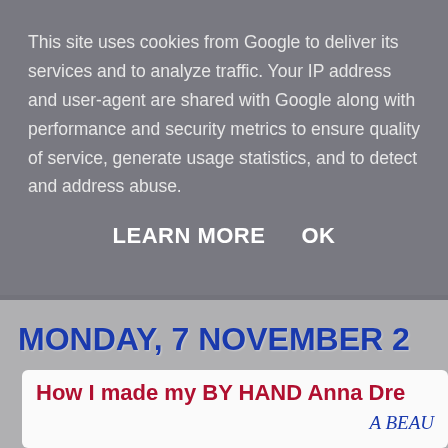This site uses cookies from Google to deliver its services and to analyze traffic. Your IP address and user-agent are shared with Google along with performance and security metrics to ensure quality of service, generate usage statistics, and to detect and address abuse.
LEARN MORE   OK
MONDAY, 7 NOVEMBER 2
How I made my BY HAND Anna Dre
A BEAU